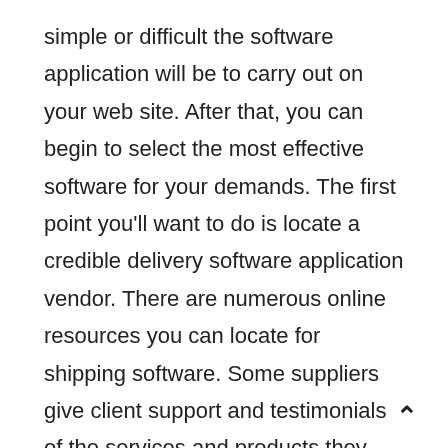simple or difficult the software application will be to carry out on your web site. After that, you can begin to select the most effective software for your demands. The first point you'll want to do is locate a credible delivery software application vendor. There are numerous online resources you can locate for shipping software. Some suppliers give client support and testimonials of the services and products they use. Others also supply a free trial deal to reveal you just how simple they are to make use of and get you familiar with their software application prior to buying it. When searching for shipping software application, keep in mind that different suppliers have various degrees of functionality and functions. When selecting software application, take a look at their delivery capacities, their